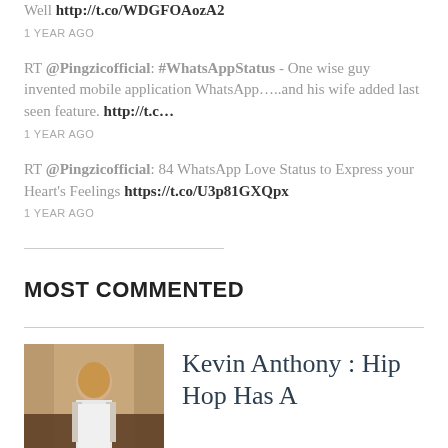Well http://t.co/WDGFOAozA2
1 YEAR AGO
RT @Pingzicofficial: #WhatsAppStatus - One wise guy invented mobile application WhatsApp…..and his wife added last seen feature. http://t.c…
1 YEAR AGO
RT @Pingzicofficial: 84 WhatsApp Love Status to Express your Heart's Feelings https://t.co/U3p81GXQpx
1 YEAR AGO
MOST COMMENTED
Kevin Anthony : Hip Hop Has A